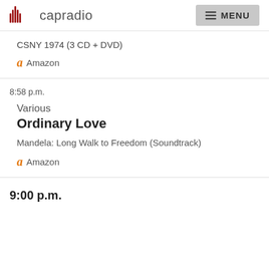capradio  MENU
CSNY 1974 (3 CD + DVD)
Amazon
8:58 p.m.
Various
Ordinary Love
Mandela: Long Walk to Freedom (Soundtrack)
Amazon
9:00 p.m.